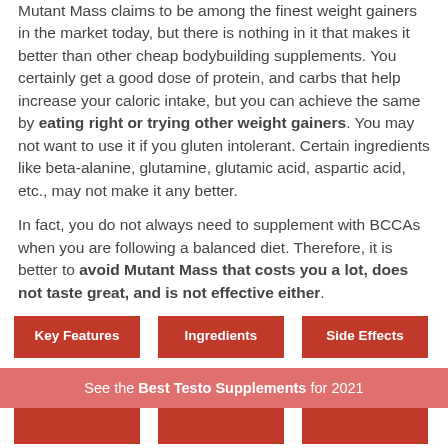Mutant Mass claims to be among the finest weight gainers in the market today, but there is nothing in it that makes it better than other cheap bodybuilding supplements. You certainly get a good dose of protein, and carbs that help increase your caloric intake, but you can achieve the same by eating right or trying other weight gainers. You may not want to use it if you gluten intolerant. Certain ingredients like beta-alanine, glutamine, glutamic acid, aspartic acid, etc., may not make it any better.
In fact, you do not always need to supplement with BCCAs when you are following a balanced diet. Therefore, it is better to avoid Mutant Mass that costs you a lot, does not taste great, and is not effective either.
Key Features
Ingredients
Side Effects
See the Best Testo Supplements for 2021